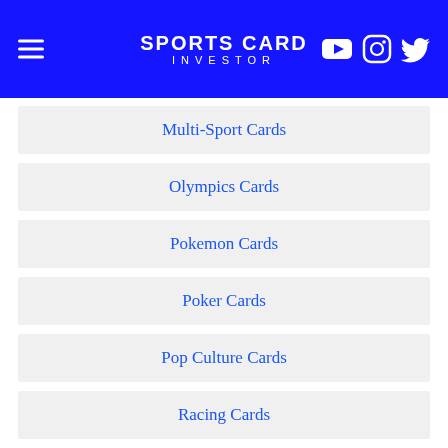SPORTS CARD INVESTOR
Multi-Sport Cards
Olympics Cards
Pokemon Cards
Poker Cards
Pop Culture Cards
Racing Cards
Soccer Cards
Tennis Cards
Wrestling Cards